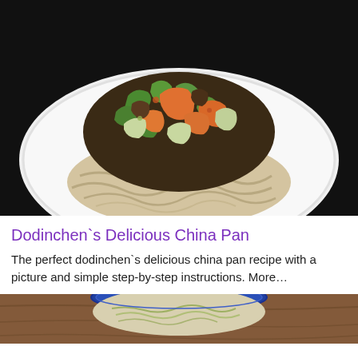[Figure (photo): A white decorative plate with ramen noodles on the bottom and stir-fried vegetables including green peppers, carrots, cabbage, and mushrooms on top, photographed on a dark background.]
Dodinchen`s Delicious China Pan
The perfect dodinchen`s delicious china pan recipe with a picture and simple step-by-step instructions. More…
[Figure (photo): A blue-rimmed bowl containing shredded or chopped vegetables on a wooden surface, partially visible at the bottom of the page.]